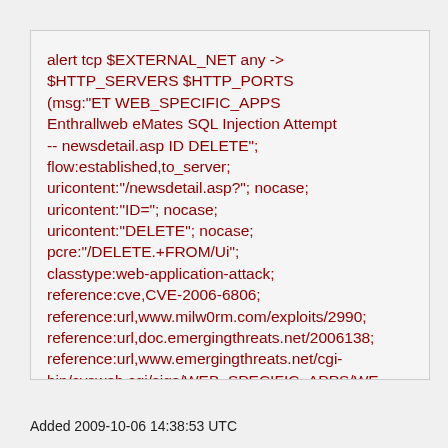alert tcp $EXTERNAL_NET any -> $HTTP_SERVERS $HTTP_PORTS (msg:"ET WEB_SPECIFIC_APPS Enthrallweb eMates SQL Injection Attempt -- newsdetail.asp ID DELETE"; flow:established,to_server; uricontent:"/newsdetail.asp?"; nocase; uricontent:"ID="; nocase; uricontent:"DELETE"; nocase; pcre:"/DELETE.+FROM/Ui"; classtype:web-application-attack; reference:cve,CVE-2006-6806; reference:url,www.milw0rm.com/exploits/2990; reference:url,doc.emergingthreats.net/2006138; reference:url,www.emergingthreats.net/cgi-bin/cvsweb.cgi/sigs/WEB_SPECIFIC_APPS/WE; sid:2006138; rev:5;)
Added 2009-10-06 14:38:53 UTC